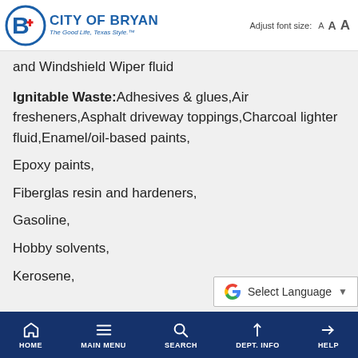City of Bryan — The Good Life, Texas Style. | Adjust font size: A A A
and Windshield Wiper fluid
Ignitable Waste: Adhesives & glues, Air fresheners, Asphalt driveway toppings, Charcoal lighter fluid, Enamel/oil-based paints,
Epoxy paints,
Fiberglas resin and hardeners,
Gasoline,
Hobby solvents,
Kerosene,
HOME | MAIN MENU | SEARCH | DEPT. INFO | HELP